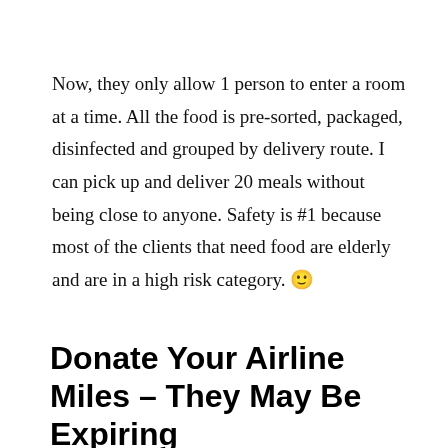Now, they only allow 1 person to enter a room at a time. All the food is pre-sorted, packaged, disinfected and grouped by delivery route. I can pick up and deliver 20 meals without being close to anyone. Safety is #1 because most of the clients that need food are elderly and are in a high risk category. 🙂
Donate Your Airline Miles – They May Be Expiring